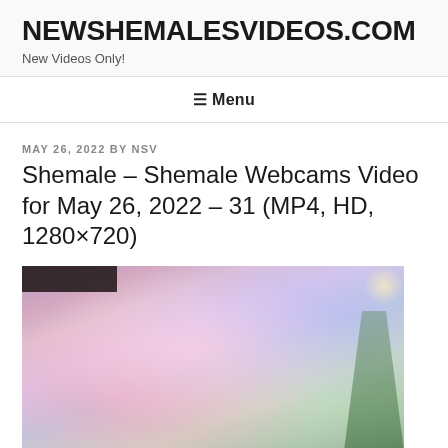NEWSHEMALESVIDEOS.COM
New Videos Only!
☰ Menu
MAY 26, 2022 BY NSV
Shemale – Shemale Webcams Video for May 26, 2022 – 31 (MP4, HD, 1280×720)
[Figure (photo): Screenshot of a webcam video showing a person in a shiny metallic fabric outfit. Background shows colorful room decor with a plant visible on the right and colorful items on the left. A dark overlay bar appears in the top-left corner of the image.]